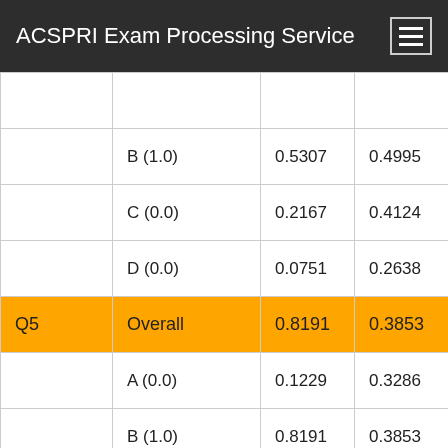ACSPRI Exam Processing Service
|  |  |  |  |
| --- | --- | --- | --- |
|  | B (1.0) | 0.5307 | 0.4995 |
|  | C (0.0) | 0.2167 | 0.4124 |
|  | D (0.0) | 0.0751 | 0.2638 |
| Q5 | Overall | 0.8191 | 0.3853 |
|  | A (0.0) | 0.1229 | 0.3286 |
|  | B (1.0) | 0.8191 | 0.3853 |
|  | C (0.0) | 0.0273 | 0.1631 |
|  | D (0.0) | 0.0307 | 0.1727 |
|  |  |  |  |